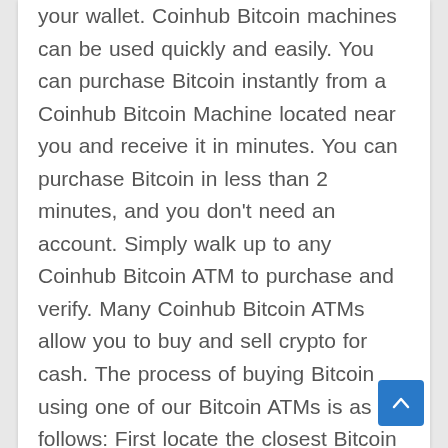your wallet. Coinhub Bitcoin machines can be used quickly and easily. You can purchase Bitcoin instantly from a Coinhub Bitcoin Machine located near you and receive it in minutes. You can purchase Bitcoin in less than 2 minutes, and you don't need an account. Simply walk up to any Coinhub Bitcoin ATM to purchase and verify. Many Coinhub Bitcoin ATMs allow you to buy and sell crypto for cash. The process of buying Bitcoin using one of our Bitcoin ATMs is as follows: First locate the closest Bitcoin ATM near you in your city by visiting our Coinhub Bitcoin ATM Locator. Enter your phone number and walk up to the machine. The machine will verify your phone using a code and scan the bitcoin wallet. Enter each bill one at a time to determine the amount you wish to purchase. After that, confirm the purchase by entering the bitcoin atm. Bitcoin is then instantly sent to your wallet. The daily buying limit is $25,000. We have Bitcoin Machines conveniently